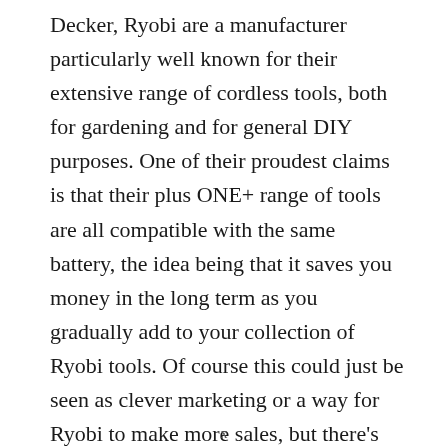Decker, Ryobi are a manufacturer particularly well known for their extensive range of cordless tools, both for gardening and for general DIY purposes. One of their proudest claims is that their plus ONE+ range of tools are all compatible with the same battery, the idea being that it saves you money in the long term as you gradually add to your collection of Ryobi tools. Of course this could just be seen as clever marketing or a way for Ryobi to make more sales, but there's no denying it does save you money,  provided you want to be invested in the company for a whole range of tools, but if you do, you want to be sure that the kit on offer is up to the job!
x